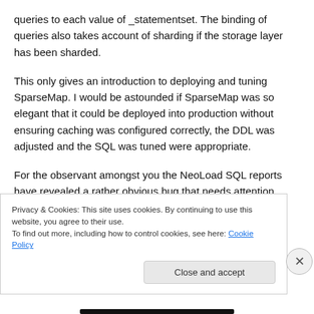queries to each value of _statementset. The binding of queries also takes account of sharding if the storage layer has been sharded.
This only gives an introduction to deploying and tuning SparseMap. I would be astounded if SparseMap was so elegant that it could be deployed into production without ensuring caching was configured correctly, the DDL was adjusted and the SQL was tuned were appropriate.
For the observant amongst you the NeoLoad SQL reports have revealed a rather obvious bug that needs attention
Privacy & Cookies: This site uses cookies. By continuing to use this website, you agree to their use.
To find out more, including how to control cookies, see here: Cookie Policy
Close and accept